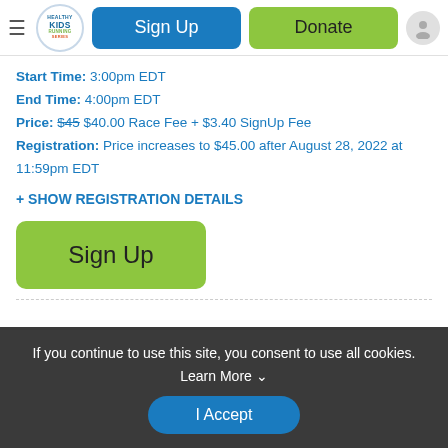Healthy Kids Running Series | Sign Up | Donate
Start Time: 3:00pm EDT
End Time: 4:00pm EDT
Price: $45 $40.00 Race Fee + $3.40 SignUp Fee
Registration: Price increases to $45.00 after August 28, 2022 at 11:59pm EDT
+ SHOW REGISTRATION DETAILS
[Figure (screenshot): Green Sign Up button]
If you continue to use this site, you consent to use all cookies. Learn More
I Accept